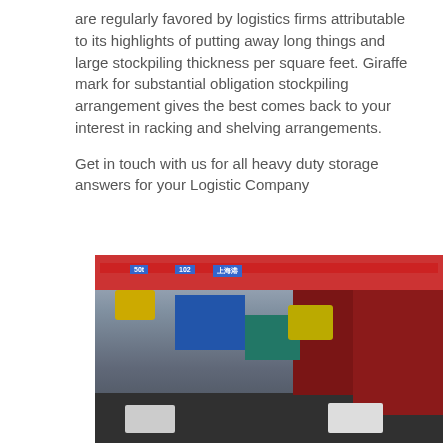are regularly favored by logistics firms attributable to its highlights of putting away long things and large stockpiling thickness per square feet. Giraffe mark for substantial obligation stockpiling arrangement gives the best comes back to your interest in racking and shelving arrangements.
Get in touch with us for all heavy duty storage answers for your Logistic Company
[Figure (photo): Photograph of a busy shipping port with large red shipping containers stacked high, a blue crane gantry spanning overhead with signs reading '50t', '102', and Chinese characters, yellow crane machinery visible, and trucks on the ground below.]